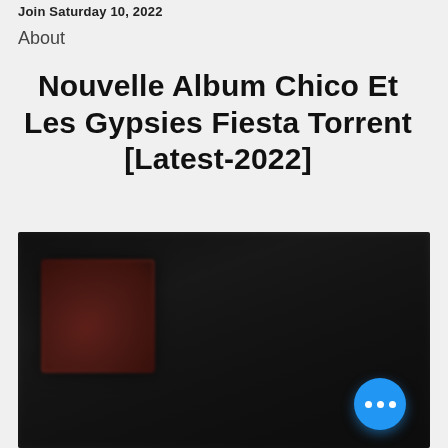Join Saturday 10, 2022
About
Nouvelle Album Chico Et Les Gypsies Fiesta Torrent [Latest-2022]
[Figure (photo): Blurred dark screenshot of album/torrent page with a partially visible album cover thumbnail on the left (red/warm tones) against a dark background, with blurred content overlay.]